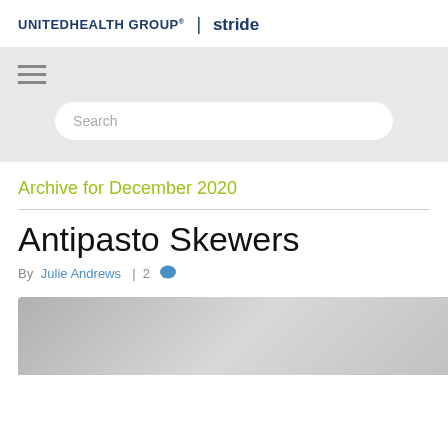UNITEDHEALTH GROUP® | stride
[Figure (screenshot): Navigation hamburger menu icon (three horizontal lines) and a search bar with placeholder text 'Search' on a light grey background]
Archive for December 2020
Antipasto Skewers
By Julie Andrews | 2 [comment icon]
[Figure (photo): Partial photo of antipasto skewers, grey/blue toned image at the bottom of the page]